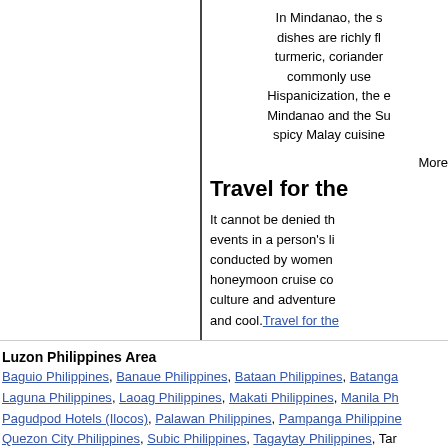In Mindanao, the s dishes are richly f turmeric, coriander commonly use Hispanicization, the e Mindanao and the Su spicy Malay cuisine
More
Travel for the
It cannot be denied th events in a person's li conducted by women honeymoon cruise co culture and adventure and cool. Travel for the
Luzon Philippines Area
Baguio Philippines, Banaue Philippines, Bataan Philippines, Batanga Laguna Philippines, Laoag Philippines, Makati Philippines, Manila Ph Pagudpod Hotels (Ilocos), Palawan Philippines, Pampanga Philippine Quezon City Philippines, Subic Philippines, Tagaytay Philippines, Ta